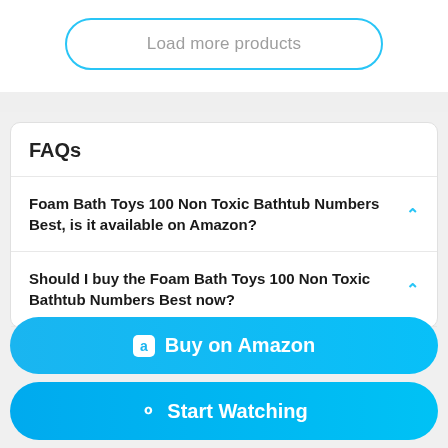Load more products
FAQs
Foam Bath Toys 100 Non Toxic Bathtub Numbers Best, is it available on Amazon?
Should I buy the Foam Bath Toys 100 Non Toxic Bathtub Numbers Best now?
Buy on Amazon
Start Watching